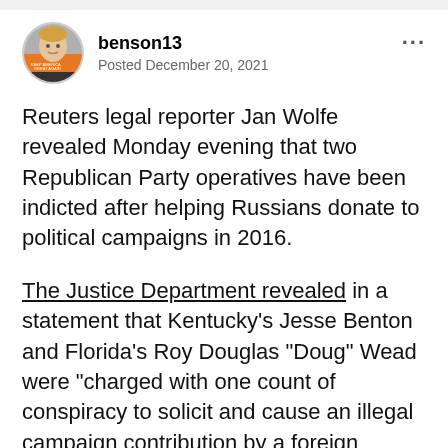benson13 | Posted December 20, 2021
Reuters legal reporter Jan Wolfe revealed Monday evening that two Republican Party operatives have been indicted after helping Russians donate to political campaigns in 2016.
The Justice Department revealed in a statement that Kentucky's Jesse Benton and Florida's Roy Douglas "Doug" Wead were "charged with one count of conspiracy to solicit and cause an illegal campaign contribution by a foreign national, effect a